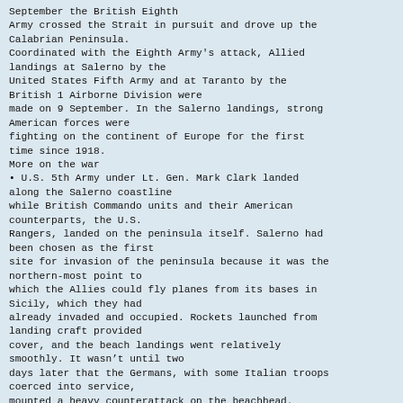September the British Eighth Army crossed the Strait in pursuit and drove up the Calabrian Peninsula.
Coordinated with the Eighth Army's attack, Allied landings at Salerno by the United States Fifth Army and at Taranto by the British 1 Airborne Division were made on 9 September. In the Salerno landings, strong American forces were fighting on the continent of Europe for the first time since 1918.
More on the war
• U.S. 5th Army under Lt. Gen. Mark Clark landed along the Salerno coastline while British Commando units and their American counterparts, the U.S. Rangers, landed on the peninsula itself. Salerno had been chosen as the first site for invasion of the peninsula because it was the northern-most point to which the Allies could fly planes from its bases in Sicily, which they had already invaded and occupied. Rockets launched from landing craft provided cover, and the beach landings went relatively smoothly. It wasn't until two days later that the Germans, with some Italian troops coerced into service, mounted a heavy counterattack on the beachhead.
Background
• With the conclusion of the campaign in North Africa in the late spring of 1943, Allied planners began looking north across the